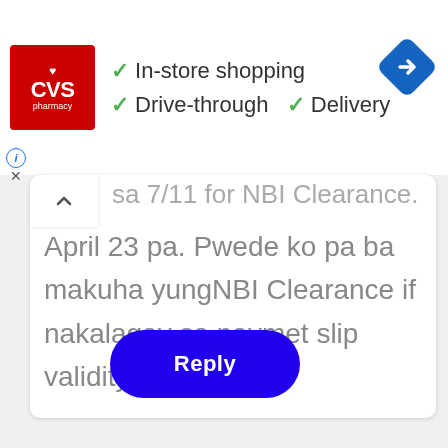[Figure (logo): CVS Pharmacy advertisement banner with logo, checkmarks for In-store shopping, Drive-through, Delivery, and a navigation arrow icon]
sa 7/11 for NBI Clearance. Last April 23 pa. Pwede ko pa ba makuha yungNBI Clearance if nakalagay sa paymet slip validity is April 23?